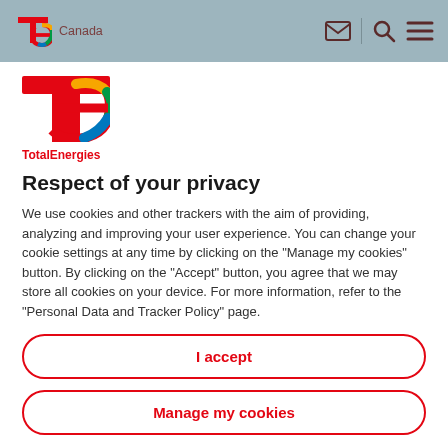TotalEnergies Canada
[Figure (logo): TotalEnergies large rainbow logo with red T and colorful e]
Respect of your privacy
We use cookies and other trackers with the aim of providing, analyzing and improving your user experience. You can change your cookie settings at any time by clicking on the "Manage my cookies" button. By clicking on the "Accept" button, you agree that we may store all cookies on your device. For more information, refer to the "Personal Data and Tracker Policy" page.
I accept
Manage my cookies